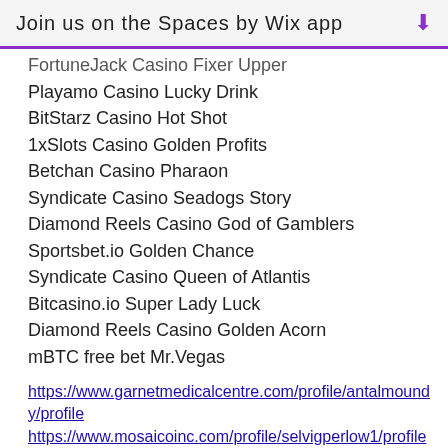Join us on the Spaces by Wix app
FortuneJack Casino Fixer Upper
Playamo Casino Lucky Drink
BitStarz Casino Hot Shot
1xSlots Casino Golden Profits
Betchan Casino Pharaon
Syndicate Casino Seadogs Story
Diamond Reels Casino God of Gamblers
Sportsbet.io Golden Chance
Syndicate Casino Queen of Atlantis
Bitcasino.io Super Lady Luck
Diamond Reels Casino Golden Acorn
mBTC free bet Mr.Vegas
https://www.garnetmedicalcentre.com/profile/antalmoundy/profile
https://www.mosaicoinc.com/profile/selvigperlow1/profile
https://www.mixperformancestudio.com/profile/rajkellerk/profile
https://www.formfirstfitness.org/profile/leywal